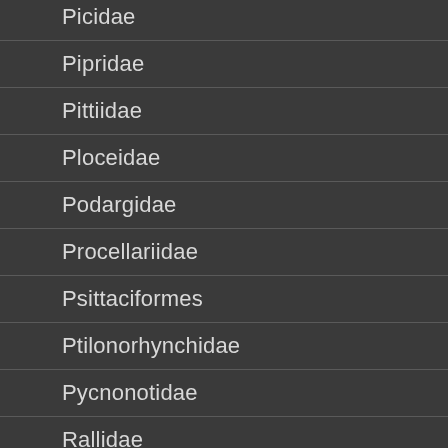Picidae
Pipridae
Pittiidae
Ploceidae
Podargidae
Procellariidae
Psittaciformes
Ptilonorhynchidae
Pycnonotidae
Rallidae